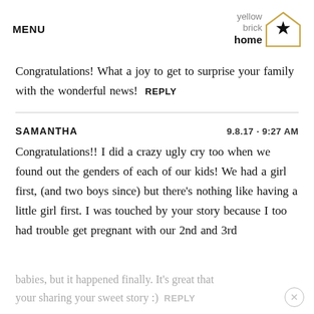MENU | yellow brick home (logo)
Congratulations! What a joy to get to surprise your family with the wonderful news!  REPLY
SAMANTHA  9.8.17 · 9:27 AM
Congratulations!! I did a crazy ugly cry too when we found out the genders of each of our kids! We had a girl first, (and two boys since) but there's nothing like having a little girl first. I was touched by your story because I too had trouble get pregnant with our 2nd and 3rd
babies, but it happened finally. It's great that your sharing your sweet story :)  REPLY